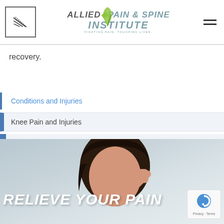[Figure (logo): Allied Pain & Spine Institute logo with green leaf icon and blue text. Tagline: FIGHTING PAIN. TOUCHING LIVES.]
recovery.
Conditions and Injuries
Knee Pain and Injuries
Sprain/Strain
[Figure (photo): Woman holding her head/neck in pain, shown against a gray gradient background. Text overlay reads RELIEVE YOUR PAIN in large bold italic white letters.]